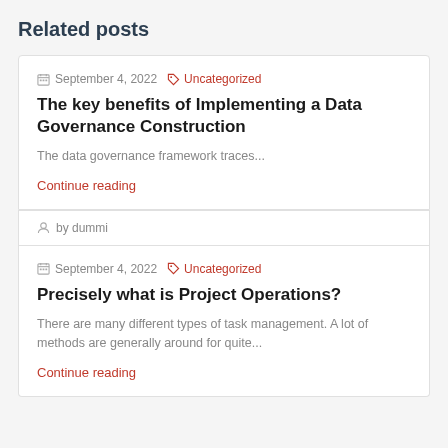Related posts
September 4, 2022  Uncategorized
The key benefits of Implementing a Data Governance Construction
The data governance framework traces...
Continue reading
by dummi
September 4, 2022  Uncategorized
Precisely what is Project Operations?
There are many different types of task management. A lot of methods are generally around for quite...
Continue reading